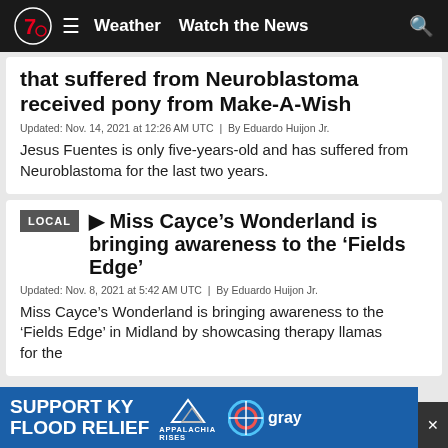7 Weather  Watch the News
that suffered from Neuroblastoma received pony from Make-A-Wish
Updated: Nov. 14, 2021 at 12:26 AM UTC  |  By Eduardo Huijon Jr.
Jesus Fuentes is only five-years-old and has suffered from Neuroblastoma for the last two years.
▶ Miss Cayce's Wonderland is bringing awareness to the 'Fields Edge'
Updated: Nov. 8, 2021 at 5:42 AM UTC  |  By Eduardo Huijon Jr.
Miss Cayce's Wonderland is bringing awareness to the 'Fields Edge' in Midland by showcasing therapy llamas for the
SUPPORT KY FLOOD RELIEF  APPALACHIA RISES  gray